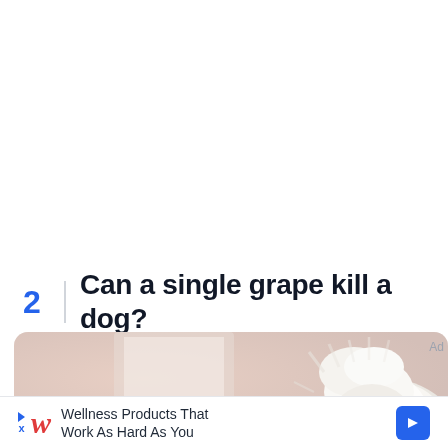2 Can a single grape kill a dog?
[Figure (photo): A white fluffy dog (Maltese breed) photographed from above against a blurred light background]
Ad
Wellness Products That Work As Hard As You